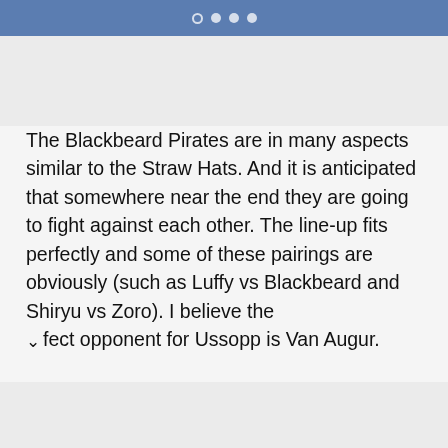● ● ● ●
The Blackbeard Pirates are in many aspects similar to the Straw Hats. And it is anticipated that somewhere near the end they are going to fight against each other. The line-up fits perfectly and some of these pairings are obviously (such as Luffy vs Blackbeard and Shiryu vs Zoro). I believe the perfect opponent for Ussopp is Van Augur.